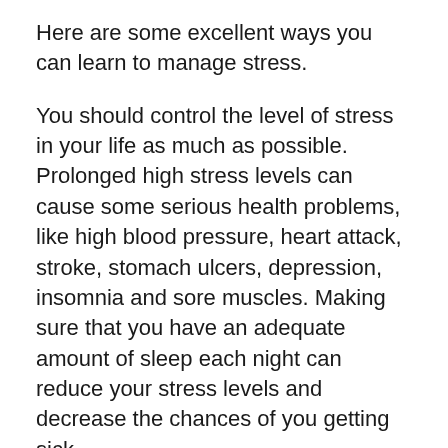Here are some excellent ways you can learn to manage stress.
You should control the level of stress in your life as much as possible. Prolonged high stress levels can cause some serious health problems, like high blood pressure, heart attack, stroke, stomach ulcers, depression, insomnia and sore muscles. Making sure that you have an adequate amount of sleep each night can reduce your stress levels and decrease the chances of you getting sick.
If you procrastinate, you run the risk of increasing your stress levels without even realizing it. Even though most of us agree that we work best under pressure, the opposite is actually true. Are you actually doing your best when doing it at the last minute? The stress of having the extra pressure on your shoulders from the impending duty that you keep putting off automatically increases your stress level. Rather than procrastinating, complete your work as soon as you receive it in order to reduce your stress level.